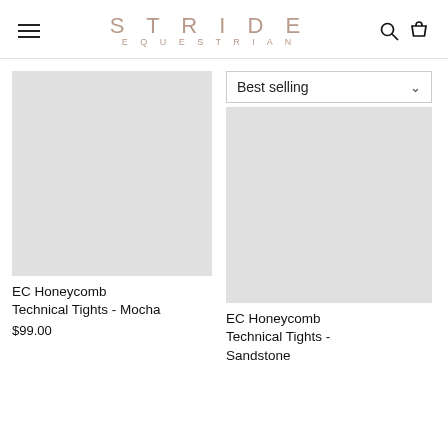STRIDE EQUESTRIAN
[Figure (other): Gray placeholder product image for EC Honeycomb Technical Tights - Mocha]
[Figure (screenshot): Best selling sort dropdown with gray placeholder product image for EC Honeycomb Technical Tights - Sandstone]
EC Honeycomb Technical Tights - Mocha
$99.00
EC Honeycomb Technical Tights - Sandstone